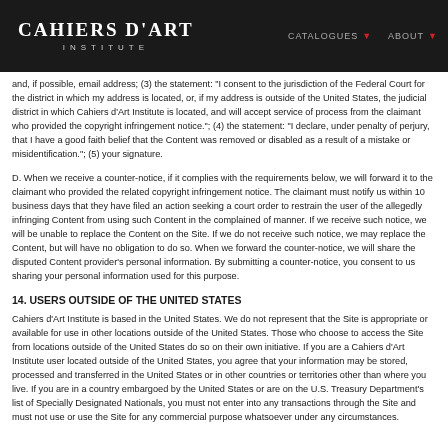CAHIERS D'ART INSTITUTE | CATALOGUES | ABOUT
and, if possible, email address; (3) the statement: "I consent to the jurisdiction of the Federal Court for the district in which my address is located, or, if my address is outside of the United States, the judicial district in which Cahiers d'Art Institute is located, and will accept service of process from the claimant who provided the copyright infringement notice."; (4) the statement: "I declare, under penalty of perjury, that I have a good faith belief that the Content was removed or disabled as a result of a mistake or misidentification."; (5) your signature.
D. When we receive a counter-notice, if it complies with the requirements below, we will forward it to the claimant who provided the related copyright infringement notice. The claimant must notify us within 10 business days that they have filed an action seeking a court order to restrain the user of the allegedly infringing Content from using such Content in the complained of manner. If we receive such notice, we will be unable to replace the Content on the Site. If we do not receive such notice, we may replace the Content, but will have no obligation to do so. When we forward the counter-notice, we will share the disputed Content provider's personal information. By submitting a counter-notice, you consent to us sharing your personal information used for this purpose.
14. USERS OUTSIDE OF THE UNITED STATES
Cahiers d'Art Institute is based in the United States. We do not represent that the Site is appropriate or available for use in other locations outside of the United States. Those who choose to access the Site from locations outside of the United States do so on their own initiative. If you are a Cahiers d'Art Institute user located outside of the United States, you agree that your information may be stored, processed and transferred in the United States or in other countries or territories other than where you live. If you are in a country embargoed by the United States or are on the U.S. Treasury Department's list of Specially Designated Nationals, you must not enter into any transactions through the Site and must not use or use the Site for any commercial purpose whatsoever under any circumstances.